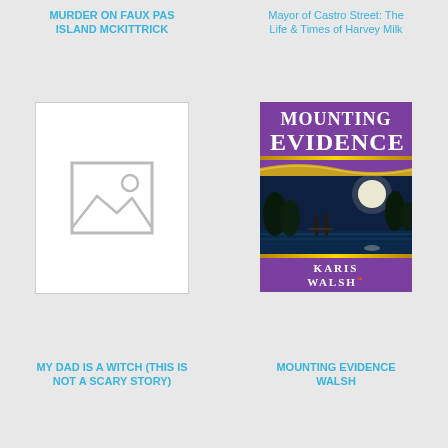MURDER ON FAUX PAS ISLAND MCKITTRICK
Mayor of Castro Street: The Life & Times of Harvey Milk
[Figure (illustration): Placeholder image with mountain/landscape icon]
[Figure (illustration): Book cover: Mounting Evidence by Karis Walsh, purple cover with landscape scene]
MY DAD IS A WITCH (THIS IS NOT A SCARY STORY)
MOUNTING EVIDENCE WALSH